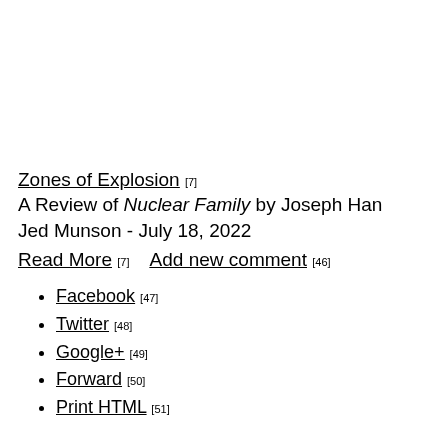Zones of Explosion [7]
A Review of Nuclear Family by Joseph Han
Jed Munson - July 18, 2022
Read More [7]    Add new comment [46]
Facebook [47]
Twitter [48]
Google+ [49]
Forward [50]
Print HTML [51]